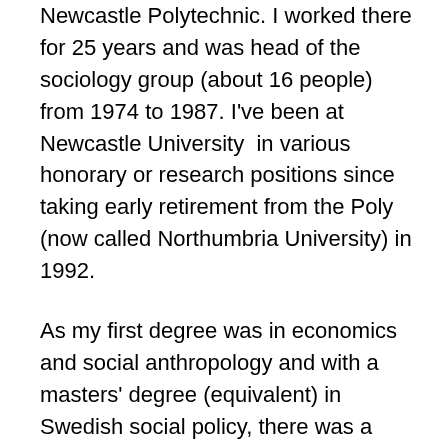Newcastle Polytechnic. I worked there for 25 years and was head of the sociology group (about 16 people) from 1974 to 1987. I've been at Newcastle University  in various honorary or research positions since taking early retirement from the Poly (now called Northumbria University) in 1992.
As my first degree was in economics and social anthropology and with a masters' degree (equivalent) in Swedish social policy, there was a tremendous amount of sociology for me to learn, and immersion in the busy intellectual life of the Essex sociology department certainly affected my life and career greatly thereafter. Peter sent me on the first BSA summer school for postgraduate students and new researchers, at Exeter University in the summer of 1965, which also taught me a lot. Colin Bell was a fellow student. He was a graduate student at